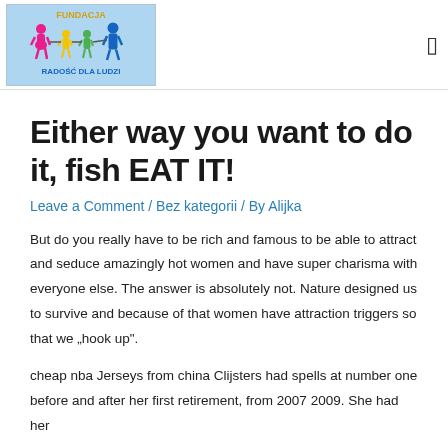[Figure (logo): Fundacja Radość Dla Ludzi logo with colorful figures of adults and children holding hands, text 'FUNDACJA' at top and 'RADOŚĆ DLA LUDZI' at bottom]
Either way you want to do it, fish EAT IT!
Leave a Comment / Bez kategorii / By Alijka
But do you really have to be rich and famous to be able to attract and seduce amazingly hot women and have super charisma with everyone else. The answer is absolutely not. Nature designed us to survive and because of that women have attraction triggers so that we „hook up".
cheap nba Jerseys from china Clijsters had spells at number one before and after her first retirement, from 2007 2009. She had her